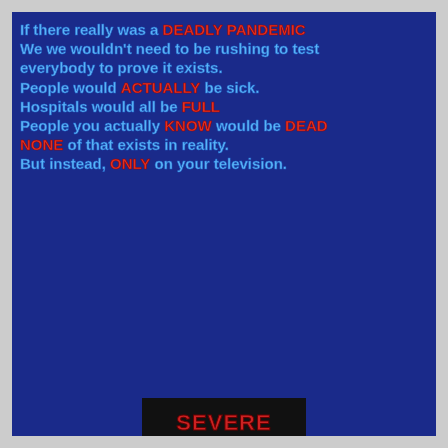If there really was a DEADLY PANDEMIC We we wouldn't need to be rushing to test everybody to prove it exists. People would ACTUALLY be sick. Hospitals would all be FULL People you actually KNOW would be DEAD NONE of that exists in reality. But instead, ONLY on your television.
[Figure (infographic): Homeland Security Advisory System on the left with five threat levels (Severe, High, Elevated, Guarded, Low). Center text reads WE ARE CURRENTLY EXPERIENCING A FULL-BLOWN CLOWNWORLD with SEVERE threat level indicated. Right side shows a parody Clown Threat Level System with five levels (Low - A Ronald McDonald bench, Guarded - Only Juggalos, Elevated - Mimes. Don't blink., High - Dumbass in a mask looking to get shot, Severe - Actual Real Clown).]